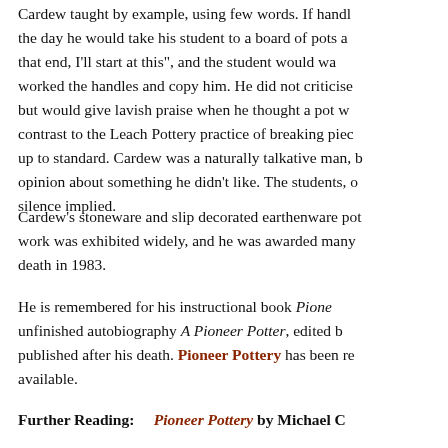Cardew taught by example, using few words. If hand-ling the day he would take his student to a board of pots a-that end, I'll start at this", and the student would wa-worked the handles and copy him. He did not criticise but would give lavish praise when he thought a pot w-contrast to the Leach Pottery practice of breaking piec-up to standard. Cardew was a naturally talkative man, b-opinion about something he didn't like. The students, o-silence implied.
Cardew's stoneware and slip decorated earthenware pot-work was exhibited widely, and he was awarded many-death in 1983.
He is remembered for his instructional book Pione-unfinished autobiography A Pioneer Potter, edited b-published after his death. Pioneer Pottery has been r-available.
Further Reading: Pioneer Pottery by Michael C